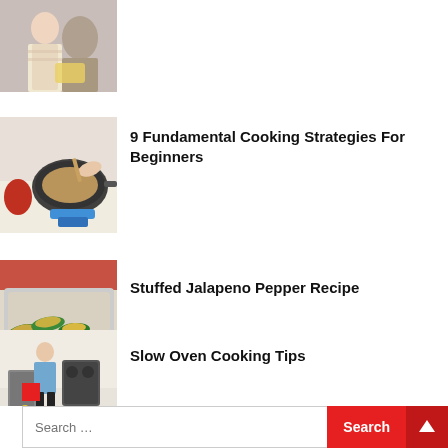[Figure (photo): Woman in apron holding book, cooking class setting]
[Figure (photo): Hands cooking food in a skillet on a stove]
9 Fundamental Cooking Strategies For Beginners
[Figure (photo): Stuffed jalapeno peppers on a tray]
Stuffed Jalapeno Pepper Recipe
[Figure (photo): Woman in kitchen with appliances]
Slow Oven Cooking Tips